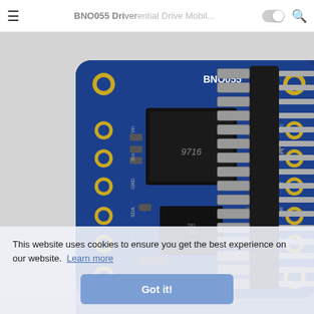BNO055 Driver  ential Drive Mobil...
[Figure (photo): Photo of Adafruit BNO055 9-axis absolute orientation sensor breakout board in blue PCB with gold pads, IC chips, and passives, alongside a row of male header pins on a light gray background.]
This website uses cookies to ensure you get the best experience on our website.  Learn more
Got it!